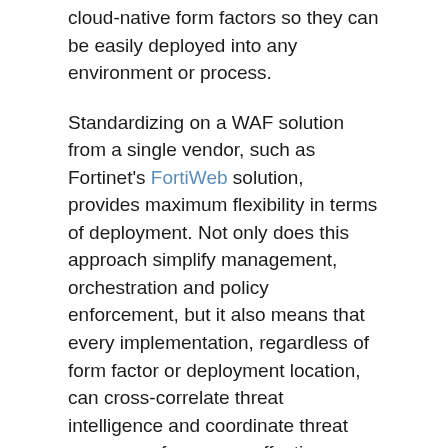cloud-native form factors so they can be easily deployed into any environment or process.
Standardizing on a WAF solution from a single vendor, such as Fortinet's FortiWeb solution, provides maximum flexibility in terms of deployment. Not only does this approach simplify management, orchestration and policy enforcement, but it also means that every implementation, regardless of form factor or deployment location, can cross-correlate threat intelligence and coordinate threat responses for a more effective overall security posture.
WAF as a Service
In addition to standard form factors, FortiWeb is also available as a cloud-based service, which reduces overhead related to updating,